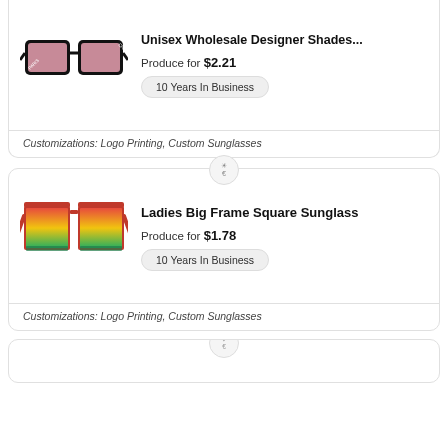[Figure (photo): Black designer sunglasses with pink-tinted lenses, Paris branding]
Unisex Wholesale Designer Shades...
Produce for $2.21
10 Years In Business
Customizations: Logo Printing, Custom Sunglasses
[Figure (photo): Ladies big frame square sunglasses with red frame and gradient yellow-green lenses]
Ladies Big Frame Square Sunglass
Produce for $1.78
10 Years In Business
Customizations: Logo Printing, Custom Sunglasses